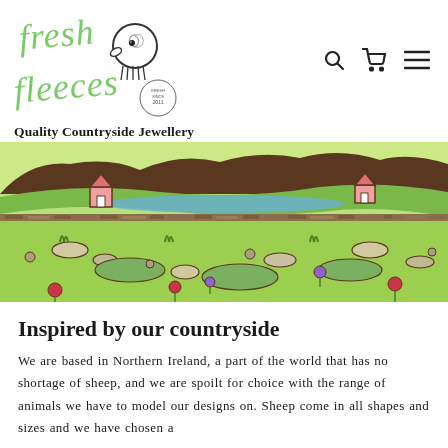[Figure (logo): Fresh Fleeces logo: handwritten green cursive text 'fresh fleeces' with a stylized sheep head illustration in black and white, and a small circular stamp reading 'FRESH SINCE 2011']
Quality Countryside Jewellery
[Figure (illustration): Illustrated countryside scene with green fields, stone walls, small pink cottage houses, a lake or river in the background, rocks, grass tufts, and colourful flowers (red and purple) in the foreground. Drawn in a simple cartoon style with dark outlines on a light green background.]
Inspired by our countryside
We are based in Northern Ireland, a part of the world that has no shortage of sheep, and we are spoilt for choice with the range of animals we have to model our designs on. Sheep come in all shapes and sizes and we have chosen a